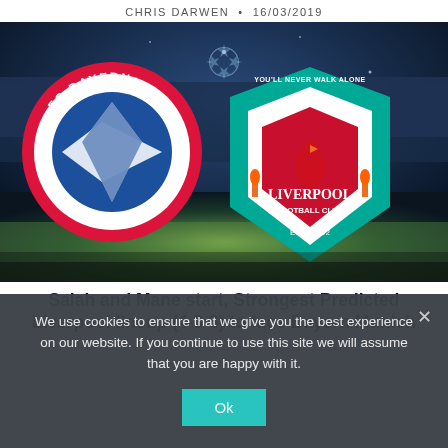CHRIS DARWEN  •  16/03/2019
[Figure (photo): FC Bayern München and Liverpool Football Club logos side by side on a football stadium background with UEFA Champions League star ball motif.]
Salah and Mane start, Strongest Predicted Liverpool lineup (4-3-3) to face Bayern Munich
We use cookies to ensure that we give you the best experience on our website. If you continue to use this site we will assume that you are happy with it.